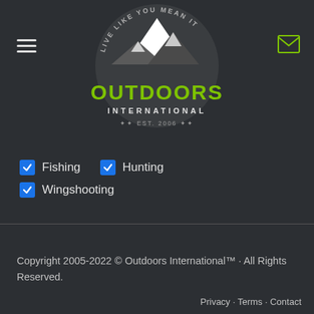[Figure (logo): Outdoors International logo with mountain graphic, circular badge with text 'LIVE LIKE YOU MEAN IT', green OUTDOORS text, INTERNATIONAL text, EST. 2006]
Fishing (checked)
Hunting (checked)
Wingshooting (checked)
SUBSCRIBE
Copyright 2005-2022 © Outdoors International™ · All Rights Reserved.